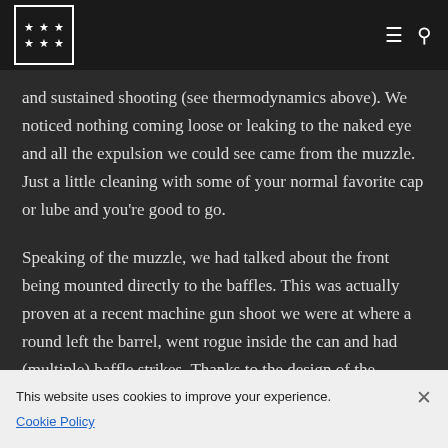★★★ ★★★ [logo] — navigation header with hamburger menu and search icon
and sustained shooting (see thermodynamics above). We noticed nothing coming loose or leaking to the naked eye and all the expulsion we could see came from the muzzle. Just a little cleaning with some of your normal favorite cap or lube and you're good to go.
Speaking of the muzzle, we had talked about the front being mounted directly to the baffles. This was actually proven at a recent machine gun shoot we were at where a round left the barrel, went rogue inside the can and had (multiple) baffle strikes. Thanks to the design of the AlphaDog, built to all blow forward and down the throat, did exactly that. All debris and flack from the suppressor went downrange, not harming the weapon,
This website uses cookies to improve your experience. Cookie Policy